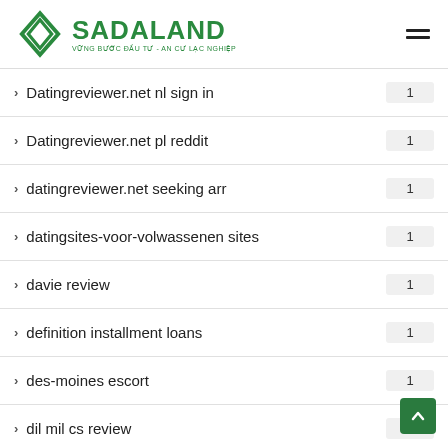SADALAND - VỮNG BƯỚC ĐẦU TƯ - AN CƯ LẠC NGHIỆP
Datingreviewer.net nl sign in — 1
Datingreviewer.net pl reddit — 1
datingreviewer.net seeking arr — 1
datingsites-voor-volwassenen sites — 1
davie review — 1
definition installment loans — 1
des-moines escort — 1
dil mil cs review — 1